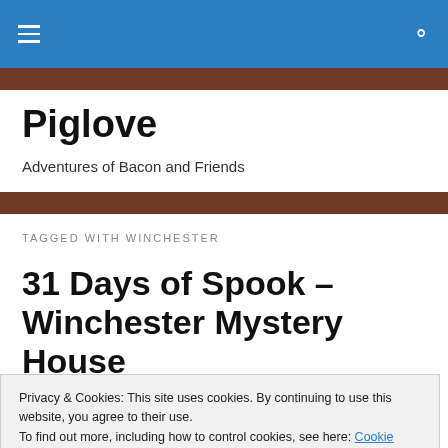Piglove — navigation bar with hamburger menu and search icon
Piglove
Adventures of Bacon and Friends
TAGGED WITH WINCHESTER
31 Days of Spook – Winchester Mystery House
Privacy & Cookies: This site uses cookies. By continuing to use this website, you agree to their use.
To find out more, including how to control cookies, see here: Cookie Policy